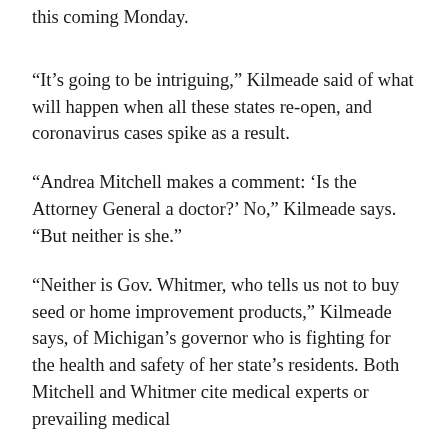this coming Monday.
“It’s going to be intriguing,” Kilmeade said of what will happen when all these states re-open, and coronavirus cases spike as a result.
“Andrea Mitchell makes a comment: ‘Is the Attorney General a doctor?’ No,” Kilmeade says. “But neither is she.”
“Neither is Gov. Whitmer, who tells us not to buy seed or home improvement products,” Kilmeade says, of Michigan’s governor who is fighting for the health and safety of her state’s residents. Both Mitchell and Whitmer cite medical experts or prevailing medical